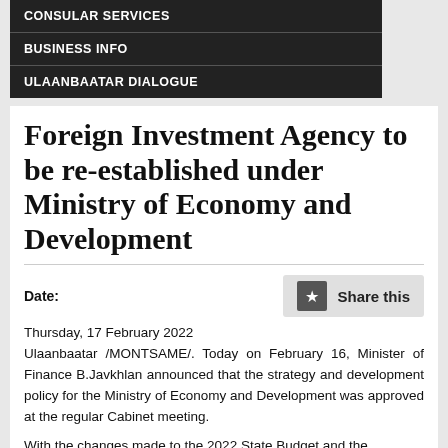CONSULAR SERVICES
BUSINESS INFO
ULAANBAATAR DIALOGUE
Foreign Investment Agency to be re-established under Ministry of Economy and Development
Date:
Thursday, 17 February 2022
Ulaanbaatar /MONTSAME/. Today on February 16, Minister of Finance B.Javkhlan announced that the strategy and development policy for the Ministry of Economy and Development was approved at the regular Cabinet meeting.
With the changes made to the 2022 State Budget and the